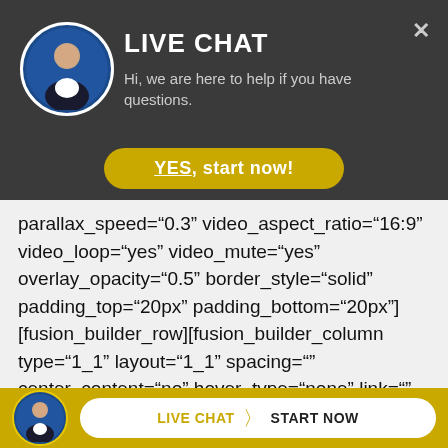[Figure (screenshot): Live chat widget top banner with avatar photo of a man in a suit, title LIVE CHAT, subtitle text, and a yellow YES start now button]
parallax_speed="0.3" video_aspect_ratio="16:9" video_loop="yes" video_mute="yes" overlay_opacity="0.5" border_style="solid" padding_top="20px" padding_bottom="20px"] [fusion_builder_row][fusion_builder_column type="1_1" layout="1_1" spacing="" center_content="no" hover_type="none" link="" min_height="" hide_on_mobile="small-visibility,medium-visibility,large-visibility" class=""
[Figure (screenshot): Bottom live chat bar with avatar photo, LIVE CHAT and START NOW button on golden/yellow background]